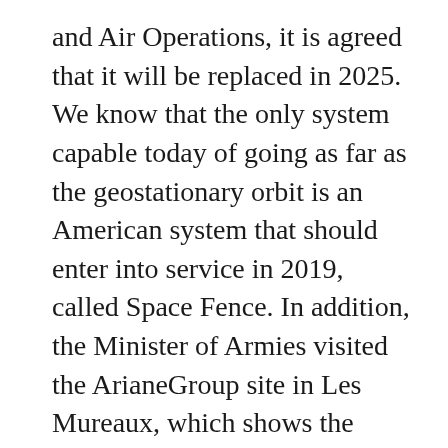and Air Operations, it is agreed that it will be replaced in 2025. We know that the only system capable today of going as far as the geostationary orbit is an American system that should enter into service in 2019, called Space Fence. In addition, the Minister of Armies visited the ArianeGroup site in Les Mureaux, which shows the Government's willingness to prepare for the control of space.
Which agency will be in charge of modernizing the GRAVES system, and what will be the cost and the impact on the military programming law? What are the means implemented by the Government in this new “Star Wars” in the outer space?